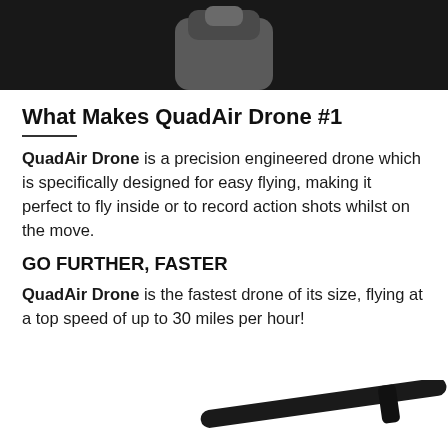[Figure (photo): Top portion of a dark/black background image showing the top part of a drone (QuadAir Drone) in gray against black background]
What Makes QuadAir Drone #1
QuadAir Drone is a precision engineered drone which is specifically designed for easy flying, making it perfect to fly inside or to record action shots whilst on the move.
GO FURTHER, FASTER
QuadAir Drone is the fastest drone of its size, flying at a top speed of up to 30 miles per hour!
[Figure (photo): Bottom portion showing the arm/propeller of a QuadAir Drone against white background]